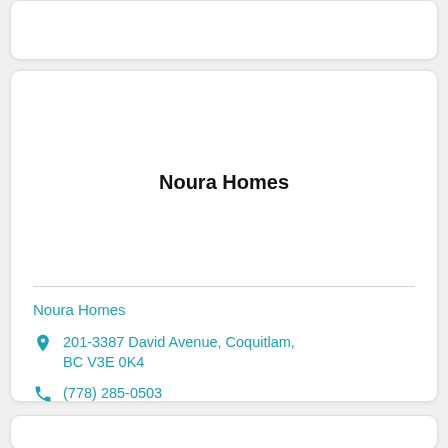Noura Homes
Noura Homes
201-3387 David Avenue, Coquitlam, BC V3E 0K4
(778) 285-0503
Visit Website